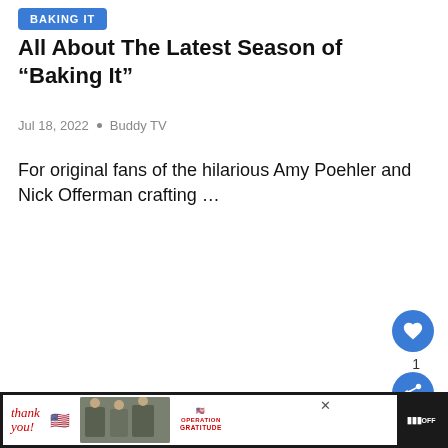BAKING IT
All About The Latest Season of “Baking It”
Jul 18, 2022 • Buddy TV
For original fans of the hilarious Amy Poehler and Nick Offerman crafting …
[Figure (photo): Promotional image for Baking It TV show with purple background and heart shapes, featuring a character illustration]
[Figure (photo): What's Next panel showing Dancing With the Stars thumbnail]
[Figure (photo): Advertisement banner: Thank you military appreciation ad with Operation Gratitude logo]